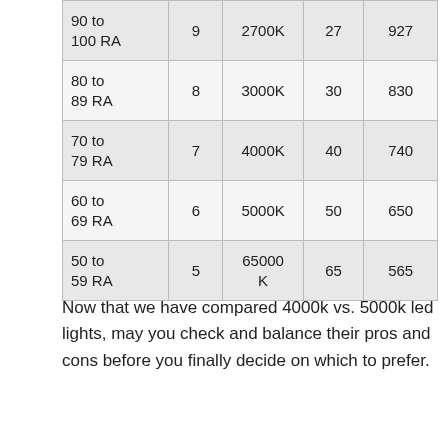| 90 to 100 RA | 9 | 2700K | 27 | 927 |
| 80 to 89 RA | 8 | 3000K | 30 | 830 |
| 70 to 79 RA | 7 | 4000K | 40 | 740 |
| 60 to 69 RA | 6 | 5000K | 50 | 650 |
| 50 to 59 RA | 5 | 65000K | 65 | 565 |
Now that we have compared 4000k vs. 5000k led lights, may you check and balance their pros and cons before you finally decide on which to prefer.